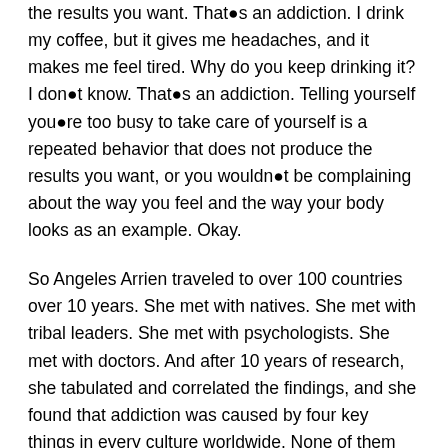the results you want. That●s an addiction. I drink my coffee, but it gives me headaches, and it makes me feel tired. Why do you keep drinking it? I don●t know. That●s an addiction. Telling yourself you●re too busy to take care of yourself is a repeated behavior that does not produce the results you want, or you wouldn●t be complaining about the way you feel and the way your body looks as an example. Okay.
So Angeles Arrien traveled to over 100 countries over 10 years. She met with natives. She met with tribal leaders. She met with psychologists. She met with doctors. And after 10 years of research, she tabulated and correlated the findings, and she found that addiction was caused by four key things in every culture worldwide. None of them were more important than the other. They were just the four underlying factors that are most likely to lead to addiction.
Number one is perfectionism. Whenever your parents raise